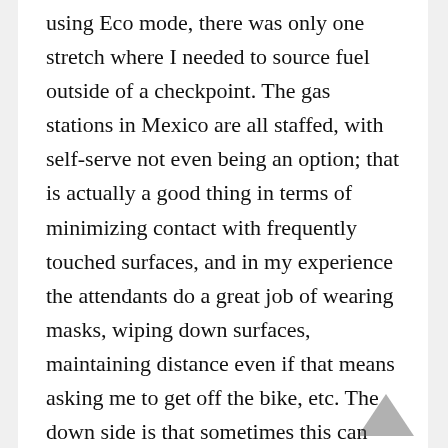using Eco mode, there was only one stretch where I needed to source fuel outside of a checkpoint. The gas stations in Mexico are all staffed, with self-serve not even being an option; that is actually a good thing in terms of minimizing contact with frequently touched surfaces, and in my experience the attendants do a great job of wearing masks, wiping down surfaces, maintaining distance even if that means asking me to get off the bike, etc. The down side is that sometimes this can lead to a bit of a wait while waiting for a fill especially if the stations have limited staff during off-peak hours, but I was very lucky throughout the rally and my fuel stops did not create any significant delays. The rally was also designed to